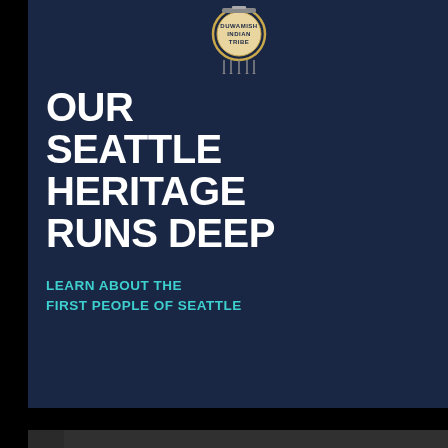[Figure (infographic): Advertisement for Duwamish Indian Tribe: 'Our Seattle Heritage Runs Deep' with tribal logo, white bold headline text, and teal subtext 'Learn About the First People of Seattle' on dark navy background.]
[Figure (infographic): Advertisement for Seattle Restored: 'Calling All Entrepreneurs, Artists, and Makers!' with orange text 'Applications for Phase 2 of Seattle Restored Are Now Open.' and info session date 'July 28th'. Dark charcoal background with vertical 'Seattle RESTORED' text on left and storefront photo at bottom right.]